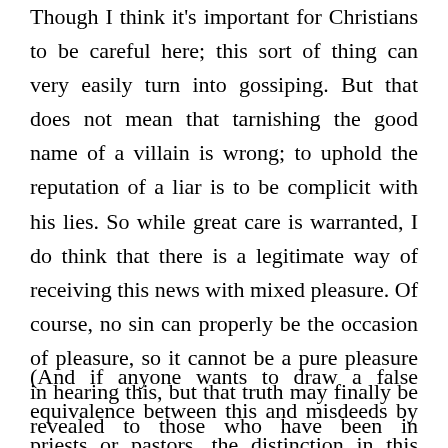Though I think it's important for Christians to be careful here; this sort of thing can very easily turn into gossiping. But that does not mean that tarnishing the good name of a villain is wrong; to uphold the reputation of a liar is to be complicit with his lies. So while great care is warranted, I do think that there is a legitimate way of receiving this news with mixed pleasure. Of course, no sin can properly be the occasion of pleasure, so it cannot be a pure pleasure in hearing this, but that truth may finally be revealed to those who have been in darkness is worth celebrating.
(And if anyone wants to draw a false equivalence between this and misdeeds by priests or pastors, the distinction in this case are several…